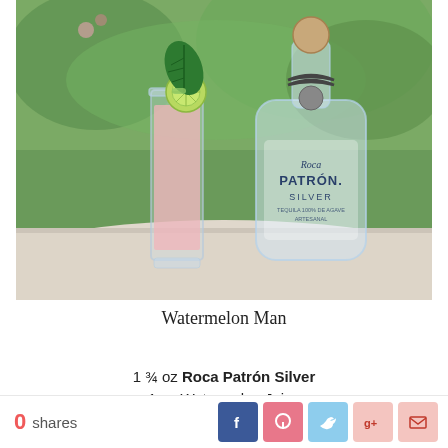[Figure (photo): A tall glass with a pink cocktail garnished with a lime wheel and a fresh basil leaf, next to a bottle of Roca Patrón Silver tequila, set on a light cloth surface with a green garden background.]
Watermelon Man
1 ¾ oz Roca Patrón Silver
1 oz Watermelon Juice
0 shares  [Facebook] [Pinterest] [Twitter] [Google+] [Email]